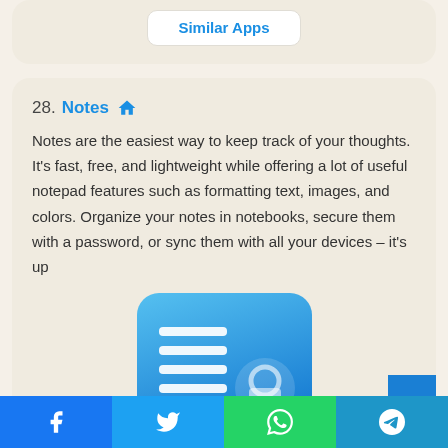Similar Apps
28. Notes 🏠
Notes are the easiest way to keep track of your thoughts. It's fast, free, and lightweight while offering a lot of useful notepad features such as formatting text, images, and colors. Organize your notes in notebooks, secure them with a password, or sync them with all your devices – it's up
[Figure (illustration): Notes app icon: blue rounded rectangle with white horizontal lines and a circular lock symbol]
[Figure (infographic): Social share bar with Facebook, Twitter, WhatsApp, and Telegram buttons]